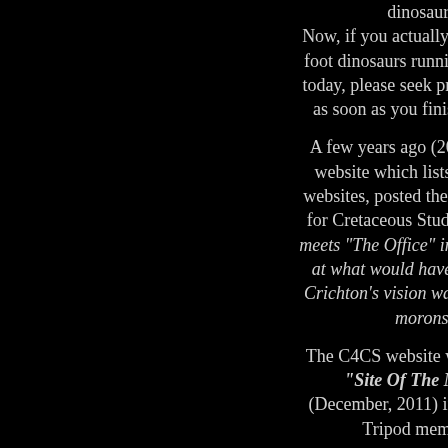dinosaurs.
Now, if you actually believe there foot dinosaurs running around on today, please seek professional co as soon as you finish visiting o
A few years ago (2006) LotsaSi website which lists and critiqu websites, posted their findings on for Cretaceous Studies as "Juras meets "The Office" in this tongue-i at what would have happened i Crichton's vision was actually un morons.
The C4CS website was also nam "Site Of The Month" (December, 2011) in landslide v Tripod members.
How bad can it get? Even our 'frie Art Evolved had this to say (and w have to ask them!): "overall most [is] in fact stills from movies and T photographs of dinosaur statue